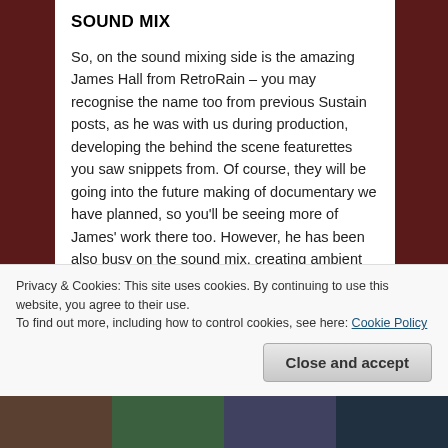SOUND MIX
So, on the sound mixing side is the amazing James Hall from RetroRain – you may recognise the name too from previous Sustain posts, as he was with us during production, developing the behind the scene featurettes you saw snippets from. Of course, they will be going into the future making of documentary we have planned, so you'll be seeing more of James' work there too. However, he has been also busy on the sound mix, creating ambient tracks to bring the world within the narrative to life as well as working on ADR with us, and cleaning up audio that needed some tweaking along the way (be gone background HISS!!) – this is why you've seen us recently posting on the social media pages in
Privacy & Cookies: This site uses cookies. By continuing to use this website, you agree to their use.
To find out more, including how to control cookies, see here: Cookie Policy
Close and accept